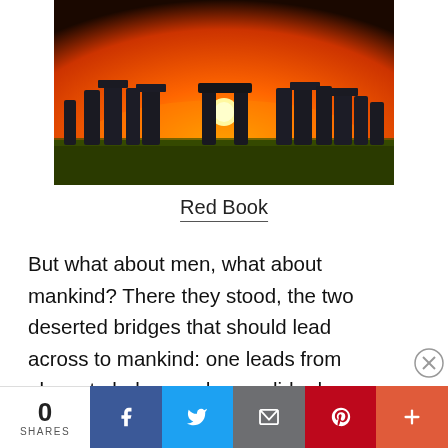[Figure (photo): Stonehenge at sunset with bright orange sky and sun visible through the stone arches, green grass in foreground]
Red Book
But what about men, what about mankind? There they stood, the two deserted bridges that should lead across to mankind: one leads from above to below, and men glide down on it, which pleases them. / The other leads from below to above and mankind groans upward on it.
Advertisements
0 SHARES | Facebook | Twitter | Email | Pinterest | +